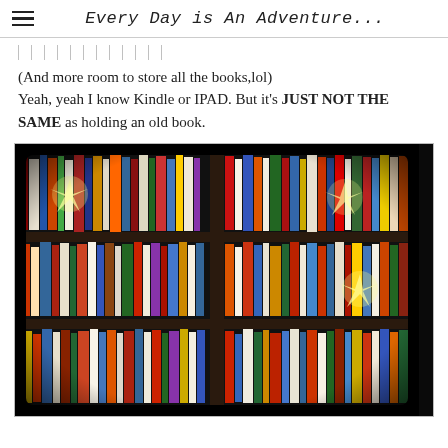Every Day is An Adventure...
(And more room to store all the books,lol)
Yeah, yeah I know Kindle or IPAD. But it's JUST NOT THE SAME as holding an old book.
[Figure (photo): A stylized photo of a dark wooden bookshelf filled with many colorful books arranged on three rows, with starburst light effects overlaid at several points on the shelves.]